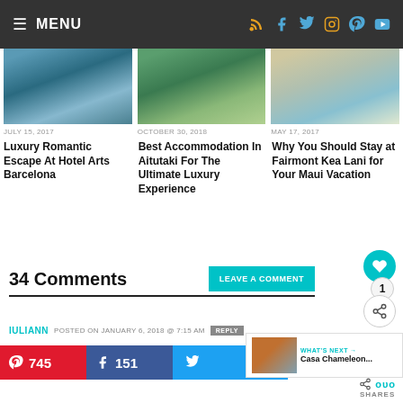MENU
[Figure (photo): Aerial view of Hotel Arts Barcelona]
JULY 15, 2017
Luxury Romantic Escape At Hotel Arts Barcelona
[Figure (photo): Beach aerial view in Aitutaki]
OCTOBER 30, 2018
Best Accommodation In Aitutaki For The Ultimate Luxury Experience
[Figure (photo): Fairmont Kea Lani resort exterior in Maui]
MAY 17, 2017
Why You Should Stay at Fairmont Kea Lani for Your Maui Vacation
34 Comments
IULIANN POSTED ON JANUARY 6, 2018 @ 7:15 AM
REPLY
WHAT'S NEXT → Casa Chameleon...
745
151
SHARES